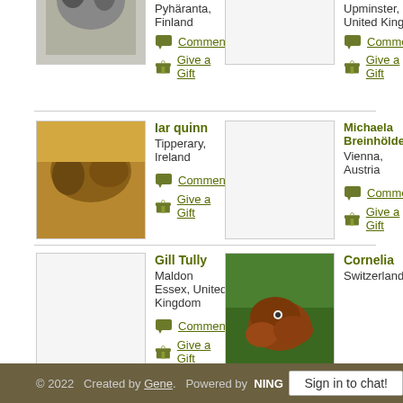Pyhäranta, Finland
Comment
Give a Gift
Upminster, United Kingdom
Comment
Give a Gift
Iar quinn
Tipperary, Ireland
Comment
Give a Gift
Michaela Breinhölder
Vienna, Austria
Comment
Give a Gift
Gill Tully
Maldon Essex, United Kingdom
Comment
Give a Gift
Cornelia
Switzerland
‹ Previous  1  2  3  4  Next ›
© 2022   Created by Gene.   Powered by  NING
Sign in to chat!